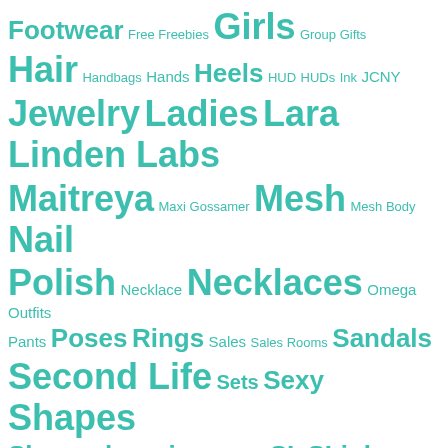[Figure (infographic): Tag cloud with various fashion/virtual world related tags in teal/turquoise color on white background. Larger text indicates more frequent tags. Tags include: Footwear, Free Freebies, Girls, Group Gifts, Hair, Handbags, Hands, Heels, HUD, HUDs, Ink, JCNY, Jewelry, Ladies, Lara, Linden Labs, Maitreya, Maxi Gossamer, Mesh, Mesh Body, Nail Polish, Necklace, Necklaces, Omega, Outfits, Pants, Poses, Rings, Sales, Sales Rooms, Sandals, Second Life, Sets, Sexy, Shapes, Shoes, shopping, Skins, SL, SLink, SWANK, Tattoos, Tops, Truth, Virtual Worlds, Women, Wow Skins, zoz]